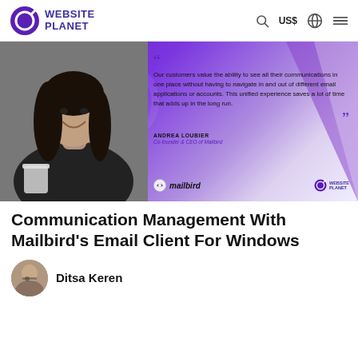WEBSITE PLANET — US$ navigation header
[Figure (photo): Hero banner with a smiling woman holding a coffee cup (black and white photo), purple diagonal background, quote from Andrea Loubier Co-founder & CEO of Mailbird, Mailbird and Website Planet logos at bottom.]
Communication Management With Mailbird's Email Client For Windows
Ditsa Keren